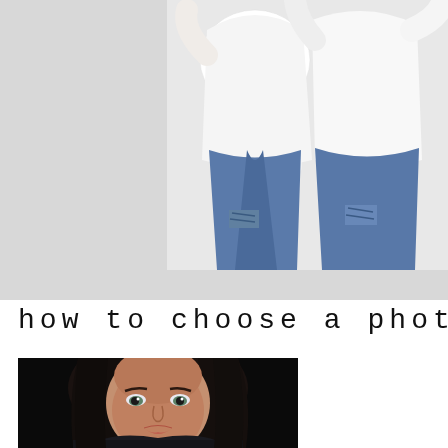[Figure (photo): Two people sitting, wearing white shirts and ripped jeans, photographed from the torso down on a light grey background]
how to choose a photogrpa
[Figure (photo): Professional headshot of a woman with long dark hair against a dark background, looking directly at camera]